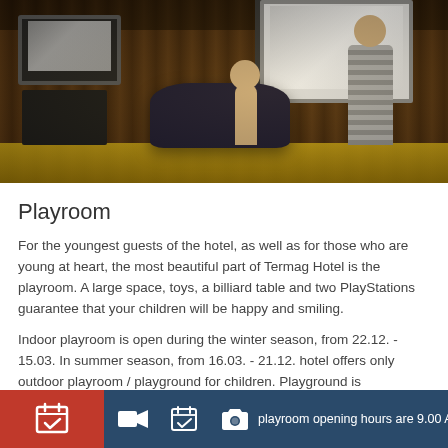[Figure (photo): Indoor playroom scene with children playing video games. A child stands in front of a large TV screen on the left, there is a dark bean bag/sofa in the center, and a person stands on the right. The room has wooden wall paneling and a bright yellow floor.]
Playroom
For the youngest guests of the hotel, as well as for those who are young at heart, the most beautiful part of Termag Hotel is the playroom. A large space, toys, a billiard table and two PlayStations guarantee that your children will be happy and smiling.
Indoor playroom is open during the winter season, from 22.12. - 15.03. In summer season, from 16.03. - 21.12. hotel offers only outdoor playroom / playground for children. Playground is conveniently located in front of the hotel.
playroom opening hours are 9.00 AM - 10.00 PM in